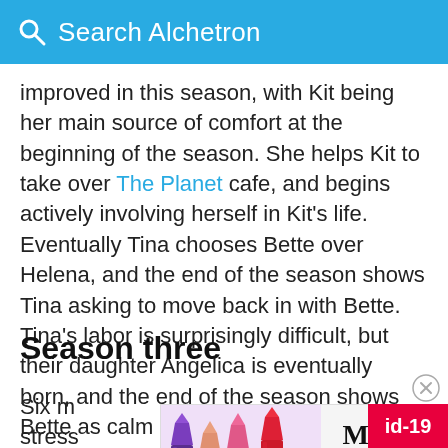Search Alchetron
improved in this season, with Kit being her main source of comfort at the beginning of the season. She helps Kit to take over The Planet cafe, and begins actively involving herself in Kit's life. Eventually Tina chooses Bette over Helena, and the end of the season shows Tina asking to move back in with Bette. Tina's labor is surprisingly difficult, but their daughter Angelica is eventually born, and the end of the season shows Bette as calm and happy in her new family.
Season three
Six m... stress... ent
[Figure (advertisement): MAC cosmetics advertisement showing lipsticks with SHOP NOW button and id-19 badge]